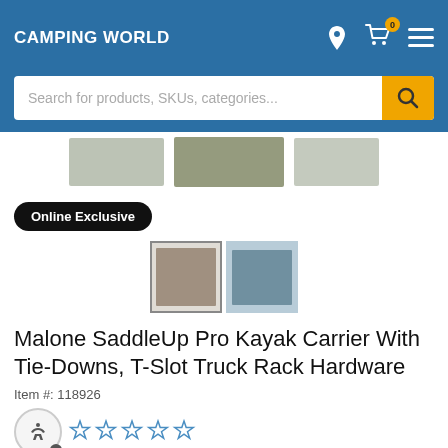CAMPING WORLD
Search for products, SKUs, categories...
[Figure (photo): Product images strip showing kayak carrier hardware pieces from multiple angles]
Online Exclusive
[Figure (photo): Two product thumbnail images: kayak carrier hardware pieces (selected) and installed rack on truck]
Malone SaddleUp Pro Kayak Carrier With Tie-Downs, T-Slot Truck Rack Hardware
Item #: 118926
[Figure (other): Star rating: 0 out of 5 stars (5 empty stars)]
0 Reviews | Write Review | Ask a Question